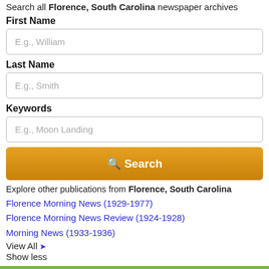Search all Florence, South Carolina newspaper archives
First Name
E.g., William
Last Name
E.g., Smith
Keywords
E.g., Moon Landing
Search
Explore other publications from Florence, South Carolina
Florence Morning News (1929-1977)
Florence Morning News Review (1924-1928)
Morning News (1933-1936)
View All ▾
Show less
All newspaper archives for September 16, 1970
Browse